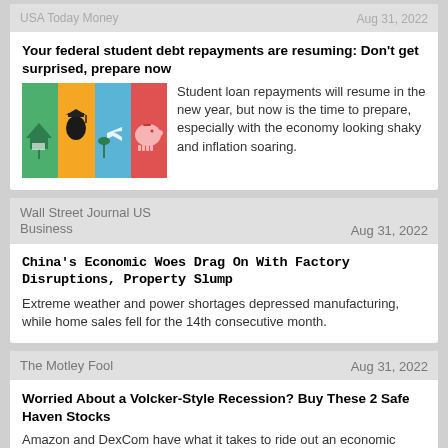USA Today Money | Aug 31, 2022
Your federal student debt repayments are resuming: Don't get surprised, prepare now
[Figure (illustration): Colorful illustration with four segments: green with house/sign, orange with graduation cap silhouette, blue with airplane, red with piggy bank]
Student loan repayments will resume in the new year, but now is the time to prepare, especially with the economy looking shaky and inflation soaring.
Wall Street Journal US Business | Aug 31, 2022
China's Economic Woes Drag On With Factory Disruptions, Property Slump
Extreme weather and power shortages depressed manufacturing, while home sales fell for the 14th consecutive month.
The Motley Fool | Aug 31, 2022
Worried About a Volcker-Style Recession? Buy These 2 Safe Haven Stocks
Amazon and DexCom have what it takes to ride out an economic downturn.